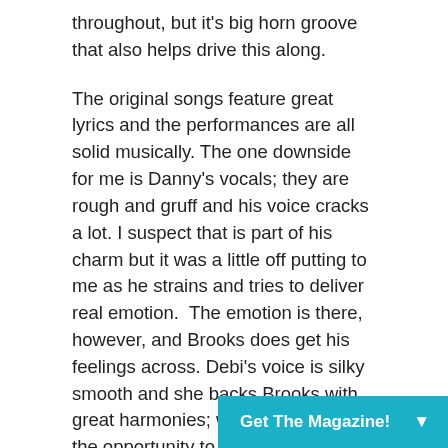throughout, but it's big horn groove that also helps drive this along.
The original songs feature great lyrics and the performances are all solid musically. The one downside for me is Danny's vocals; they are rough and gruff and his voice cracks a lot. I suspect that is part of his charm but it was a little off putting to me as he strains and tries to deliver real emotion.  The emotion is there, however, and Brooks does get his feelings across. Debi's voice is silky smooth and she backs Brooks with great harmonies; when she does get the opportunity to front the band, she does so superbly.
There is a lot of music here, 20 songs in all, 19 originals and one cool cover. Brooks delivers some really good tunes and if you can get by or like the vocals then things are good. A lot of good work wen
Get The Magazine!